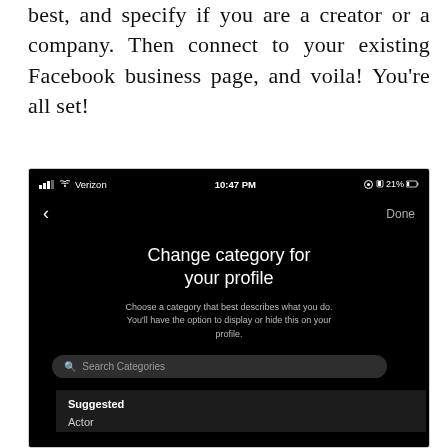best, and specify if you are a creator or a company. Then connect to your existing Facebook business page, and voila! You're all set!
[Figure (screenshot): Mobile app screenshot showing Instagram 'Change category for your profile' screen on a dark themed UI. Status bar shows Verizon carrier, 10:47 PM, 21% battery. Screen has a back arrow and Done button, a title 'Change category for your profile', subtitle text about choosing a category, a 'Search Categories' search bar, and a 'Suggested' section with 'Actor' as first item.]